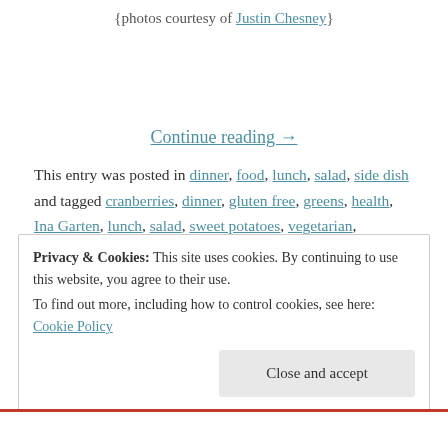{photos courtesy of Justin Chesney}
Continue reading →
This entry was posted in dinner, food, lunch, salad, side dish and tagged cranberries, dinner, gluten free, greens, health, Ina Garten, lunch, salad, sweet potatoes, vegetarian, vinaigrette, winter on March 1, 2015.
Privacy & Cookies: This site uses cookies. By continuing to use this website, you agree to their use. To find out more, including how to control cookies, see here: Cookie Policy
Close and accept